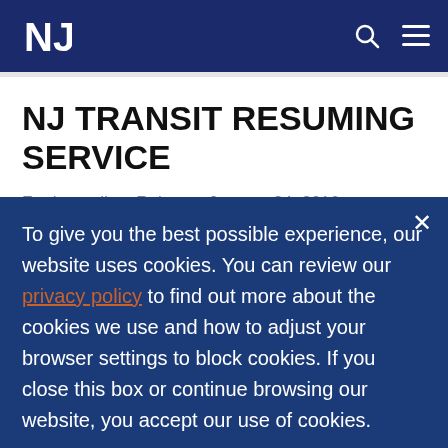NJ Transit header with NJ logo, search icon, and menu icon
NJ TRANSIT RESUMING SERVICE
For Immediate Release: January 24, 2016
To give you the best possible experience, our website uses cookies. You can review our privacy policy to find out more about the cookies we use and how to adjust your browser settings to block cookies. If you close this box or continue browsing our website, you accept our use of cookies.
Accept